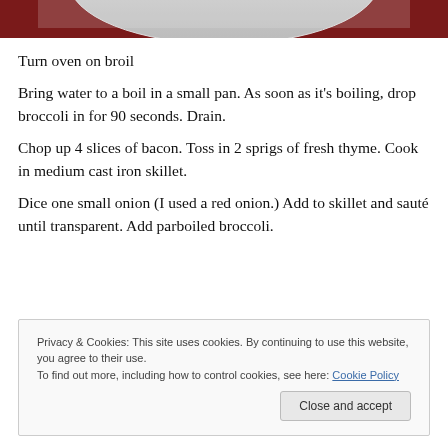[Figure (photo): Partial view of a dish with white plate and dark red background, cropped at top of page]
Turn oven on broil
Bring water to a boil in a small pan. As soon as it’s boiling, drop broccoli in for 90 seconds. Drain.
Chop up 4 slices of bacon. Toss in 2 sprigs of fresh thyme. Cook in medium cast iron skillet.
Dice one small onion (I used a red onion.) Add to skillet and sauté until transparent. Add parboiled broccoli.
Privacy & Cookies: This site uses cookies. By continuing to use this website, you agree to their use.
To find out more, including how to control cookies, see here: Cookie Policy
Close and accept